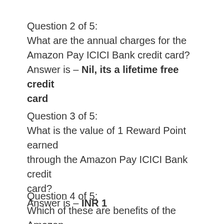Question 2 of 5:
What are the annual charges for the Amazon Pay ICICI Bank credit card?
Answer is – Nil, its a lifetime free credit card
Question 3 of 5:
What is the value of 1 Reward Point earned through the Amazon Pay ICICI Bank credit card?
Answer is – INR 1
Question 4 of 5:
Which of these are benefits of the Amazon Pay ICICI Bank Credit Card?